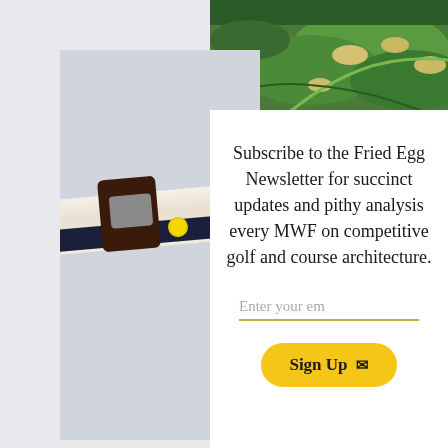[Figure (photo): Aerial view of a golf course with green fairways, sand bunkers, and undulating terrain]
[Figure (photo): Close-up of a leather golf belt with a silver buckle and yellow fried-egg logo on dark navy strap]
Subscribe to the Fried Egg Newsletter for succinct updates and pithy analysis every MWF on competitive golf and course architecture.
Enter your em
Sign Up